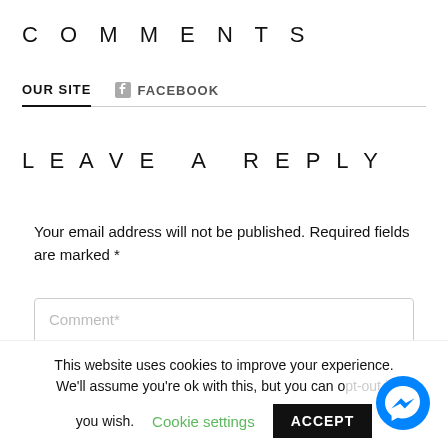COMMENTS
OUR SITE   FACEBOOK
LEAVE A REPLY
Your email address will not be published. Required fields are marked *
Comment*
This website uses cookies to improve your experience. We'll assume you're ok with this, but you can opt-out if you wish.
Cookie settings
ACCEPT